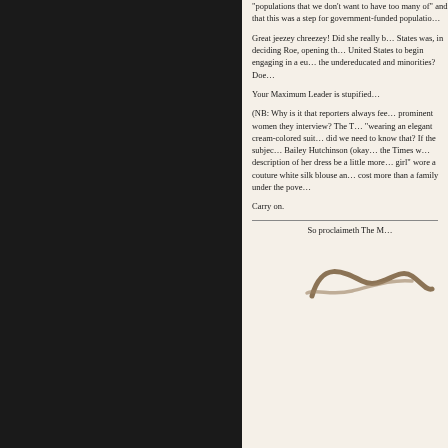“populations that we don’t want to have too many of” and that this was a step for government-funded population control…
Great jeezey chreezey! Did she really believe that the United States was, in deciding Roe, opening the door for the United States to begin engaging in a eugenics program against the undereducated and minorities? Doe…
Your Maximum Leader is stupified…
(NB: Why is it that reporters always feel the need to describe prominent women they interview? The Times described her as “wearing an elegant cream-colored suit” Why exactly did we need to know that? If the subject had been Kay Bailey Hutchinson (okay… the Times w…) would the description of her dress be a little more like “the right-wing girl” wore a couture white silk blouse and a matching skirt that cost more than a family under the pove…
Carry on.
So proclaimeth The M…
[Figure (illustration): A stylized cursive signature or monogram in dark taupe/brown color]